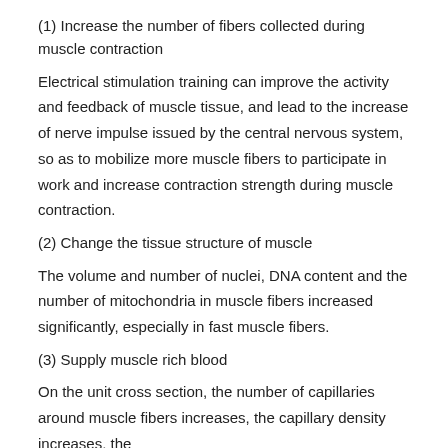(1) Increase the number of fibers collected during muscle contraction
Electrical stimulation training can improve the activity and feedback of muscle tissue, and lead to the increase of nerve impulse issued by the central nervous system, so as to mobilize more muscle fibers to participate in work and increase contraction strength during muscle contraction.
(2) Change the tissue structure of muscle
The volume and number of nuclei, DNA content and the number of mitochondria in muscle fibers increased significantly, especially in fast muscle fibers.
(3) Supply muscle rich blood
On the unit cross section, the number of capillaries around muscle fibers increases, the capillary density increases, the